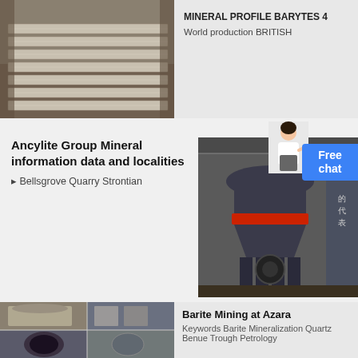[Figure (photo): Industrial metal rails or bars stacked in a warehouse or factory setting]
MINERAL PROFILE BARYTES 4
World production BRITISH
Ancylite Group Mineral information data and localities
▸ Bellsgrove Quarry Strontian
[Figure (photo): Large industrial cone crusher machine in a factory floor with Chinese text visible]
[Figure (photo): Person figure (woman) used as chat assistant icon]
[Figure (photo): Industrial equipment montage showing various mining or processing machines]
Barite Mining at Azara
Keywords Barite Mineralization Quartz Benue Trough Petrology